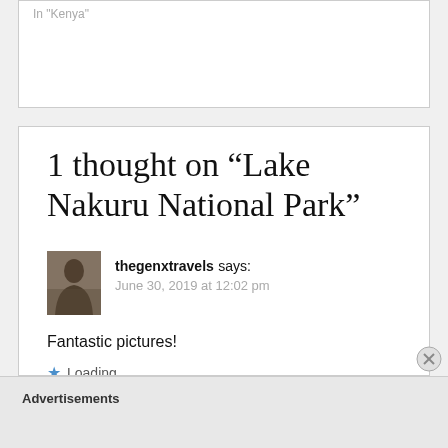In "Kenya"
1 thought on “Lake Nakuru National Park”
thegenxtravels says:
June 30, 2019 at 12:02 pm
Fantastic pictures!
Loading...
Advertisements